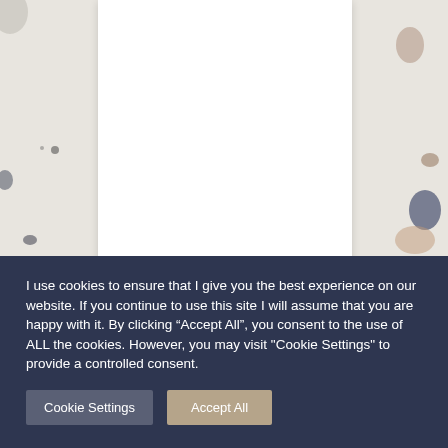[Figure (illustration): Terrazzo-patterned background with decorative colored stone chips on a light grey/beige surface, with a white rectangular card/document overlaid in the center]
I use cookies to ensure that I give you the best experience on our website. If you continue to use this site I will assume that you are happy with it. By clicking “Accept All”, you consent to the use of ALL the cookies. However, you may visit "Cookie Settings" to provide a controlled consent.
Cookie Settings
Accept All